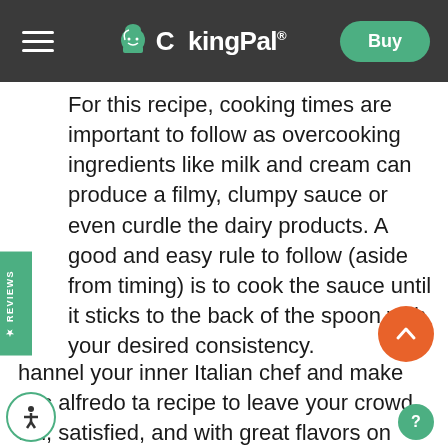[Figure (screenshot): CookingPal website navigation bar with hamburger menu on left, CookingPal logo with chef hat icon in center, and green Buy button on right, on dark gray background]
For this recipe, cooking times are important to follow as overcooking ingredients like milk and cream can produce a filmy, clumpy sauce or even curdle the dairy products. A good and easy rule to follow (aside from timing) is to cook the sauce until it sticks to the back of the spoon with your desired consistency.
channel your inner Italian chef and make this alfredo ta recipe to leave your crowd full, satisfied, and with great flavors on their palate. Thanks to Multo,